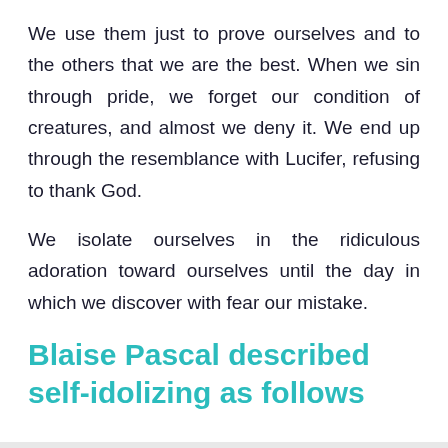We use them just to prove ourselves and to the others that we are the best. When we sin through pride, we forget our condition of creatures, and almost we deny it. We end up through the resemblance with Lucifer, refusing to thank God.
We isolate ourselves in the ridiculous adoration toward ourselves until the day in which we discover with fear our mistake.
Blaise Pascal described self-idolizing as follows